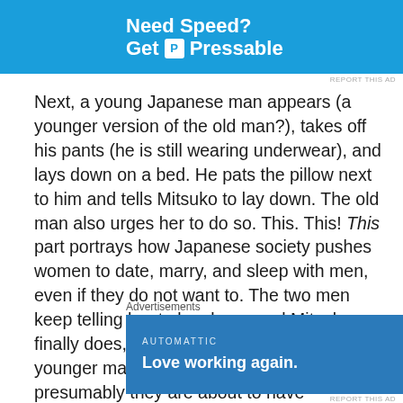[Figure (other): Advertisement banner for Pressable hosting service with blue background and person jumping]
Next, a young Japanese man appears (a younger version of the old man?), takes off his pants (he is still wearing underwear), and lays down on a bed. He pats the pillow next to him and tells Mitsuko to lay down. The old man also urges her to do so. This. This! This part portrays how Japanese society pushes women to date, marry, and sleep with men, even if they do not want to. The two men keep telling her to lay down, and Mitsuko finally does, despite being hesitant. The younger man goes on top of her because presumably they are about to have intercourse. But then Mitsuko remembers the advice of Sur from the
Advertisements
[Figure (other): Automattic advertisement with blue background: Love working again.]